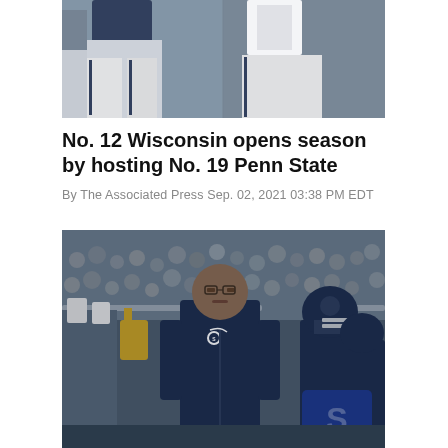[Figure (photo): Penn State football players in navy and white uniforms during warmups or a game, showing lower bodies and legs]
No. 12 Wisconsin opens season by hosting No. 19 Penn State
By The Associated Press Sep. 02, 2021 03:38 PM EDT
[Figure (photo): Penn State head coach James Franklin in a navy jacket leading players and the marching band through a crowd of fans in a stadium]